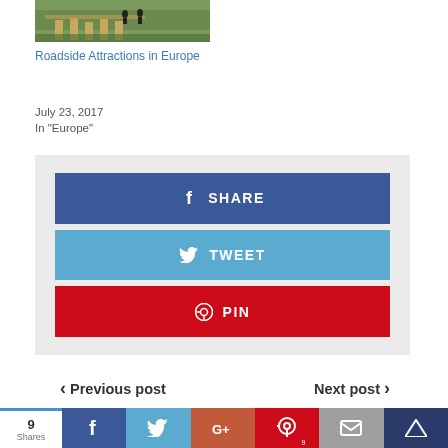[Figure (photo): Thumbnail image of outdoor/nature scene with wooden structures]
Roadside Attractions in Europe
July 23, 2017
In "Europe"
SHARE (Facebook button)
TWEET (Twitter button)
PIN (Pinterest button)
< Previous post    Next post >
9 Shares | Facebook | Twitter | G+ | Pinterest 9 | Mail | Crown